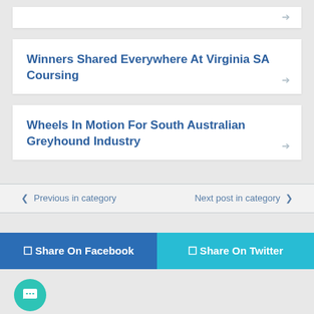Winners Shared Everywhere At Virginia SA Coursing
Wheels In Motion For South Australian Greyhound Industry
Previous in category
Next post in category
Share On Facebook
Share On Twitter